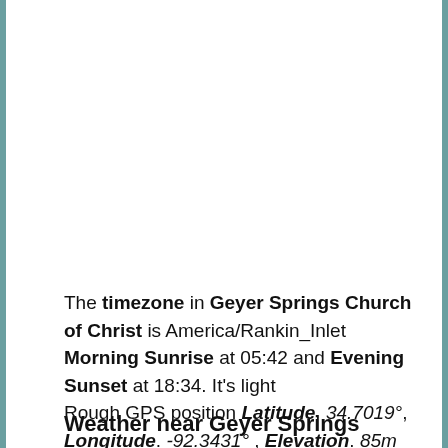The timezone in Geyer Springs Church of Christ is America/Rankin_Inlet Morning Sunrise at 05:42 and Evening Sunset at 18:34. It's light Rough GPS position Latitude. 34.7019°, Longitude. -92.3431° , Elevation. 85m
Weather near Geyer Springs